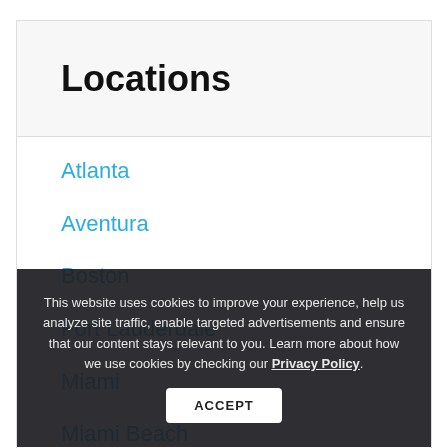Locations
Atlanta
Aventura
Boston
Fort Lauderdale
Miami
Miami Beach
Salt Francisco
This website uses cookies to improve your experience, help us analyze site traffic, enable targeted advertisements and ensure that our content stays relevant to you. Learn more about how we use cookies by checking our Privacy Policy.
ACCEPT